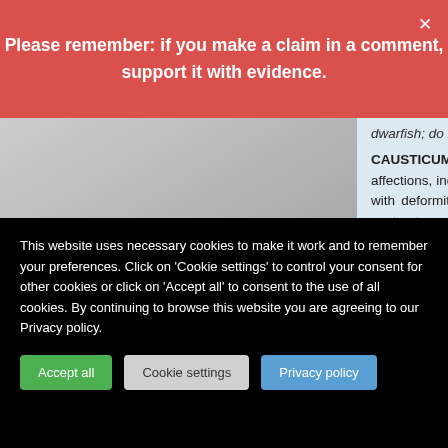[Figure (screenshot): Red notification banner: 'Please remember: if you make a claim in a comment, support it with evidence.' with a close X button.]
dwarfish; do not grow and develop.
CAUSTICUM: Manifests its action mainly in chronic rheumatic, arthritic and paralytic affections, indicated by the tearing, drawing pains in the muscular and fibrous tissues, with deformities about the joints; progressive loss of muscular strength, tendinous contractures. Broken down seniles. Weak ankles. Cannot walk without suffering.Burning in joints. Slow in learning to walk. Unsteady walking
This website uses necessary cookies to make it work and to remember your preferences. Click on 'Cookie settings' to control your consent for other cookies or click on 'Accept all' to consent to the use of all cookies. By continuing to browse this website you are agreeing to our Privacy policy.